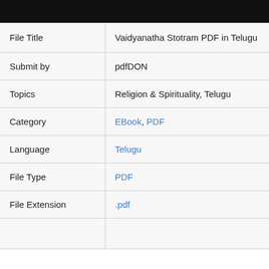|  |  |
| --- | --- |
| File Title | Vaidyanatha Stotram PDF in Telugu |
| Submit by | pdfDON |
| Topics | Religion & Spirituality, Telugu |
| Category | EBook, PDF |
| Language | Telugu |
| File Type | PDF |
| File Extension | .pdf |